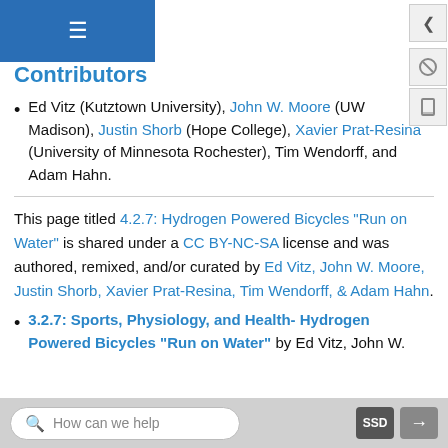≡
Contributors
Ed Vitz (Kutztown University), John W. Moore (UW Madison), Justin Shorb (Hope College), Xavier Prat-Resina (University of Minnesota Rochester), Tim Wendorff, and Adam Hahn.
This page titled 4.2.7: Hydrogen Powered Bicycles "Run on Water" is shared under a CC BY-NC-SA license and was authored, remixed, and/or curated by Ed Vitz, John W. Moore, Justin Shorb, Xavier Prat-Resina, Tim Wendorff, & Adam Hahn.
3.2.7: Sports, Physiology, and Health- Hydrogen Powered Bicycles "Run on Water" by Ed Vitz, John W.
How can we help